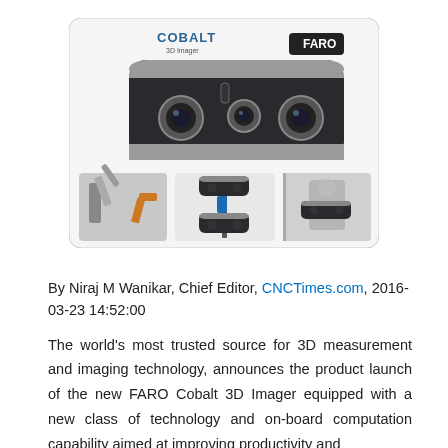[Figure (photo): Product image of FARO Cobalt 3D Imager — a wide-angle stereo camera device shown from the front, with COBALT and FARO branding. Below are three smaller photos: a robotic arm in a factory, two Cobalt units mounted on a stand, and a closeup of a person using the device.]
By Niraj M Wanikar, Chief Editor, CNCTimes.com, 2016-03-23 14:52:00
The world's most trusted source for 3D measurement and imaging technology, announces the product launch of the new FARO Cobalt 3D Imager equipped with a new class of technology and on-board computation capability aimed at improving productivity and